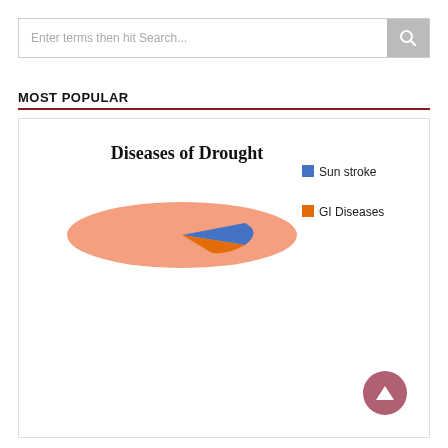Enter terms then hit Search...
MOST POPULAR
[Figure (pie-chart): Diseases of Drought]